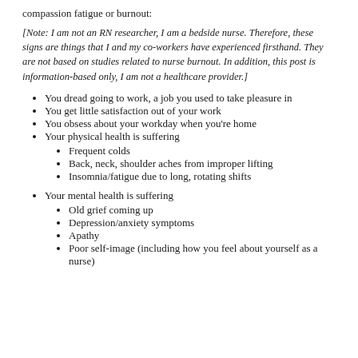compassion fatigue or burnout:
[Note: I am not an RN researcher, I am a bedside nurse. Therefore, these signs are things that I and my co-workers have experienced firsthand. They are not based on studies related to nurse burnout. In addition, this post is information-based only, I am not a healthcare provider.]
You dread going to work, a job you used to take pleasure in
You get little satisfaction out of your work
You obsess about your workday when you're home
Your physical health is suffering
Frequent colds
Back, neck, shoulder aches from improper lifting
Insomnia/fatigue due to long, rotating shifts
Your mental health is suffering
Old grief coming up
Depression/anxiety symptoms
Apathy
Poor self-image (including how you feel about yourself as a nurse)